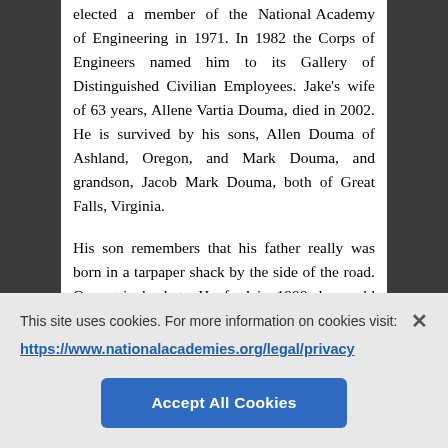elected a member of the National Academy of Engineering in 1971. In 1982 the Corps of Engineers named him to its Gallery of Distinguished Civilian Employees. Jake's wife of 63 years, Allene Vartia Douma, died in 2002. He is survived by his sons, Allen Douma of Ashland, Oregon, and Mark Douma, and grandson, Jacob Mark Douma, both of Great Falls, Virginia.
His son remembers that his father really was born in a tarpaper shack by the side of the road. On a trip back to Hanford in 1998, he could point out the spot, but of course, it wasn't there. At Berkeley, he
This site uses cookies. For more information on cookies visit:
https://www.nationalacademies.org/legal/privacy
Accept All Cookies